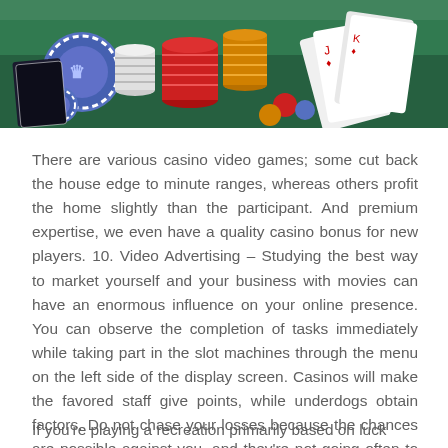[Figure (photo): Casino photo showing colorful poker chips stacked on a green felt table surface, with playing cards visible including a Jack of diamonds. Blue, red, yellow, and white chips are prominent.]
There are various casino video games; some cut back the house edge to minute ranges, whereas others profit the home slightly than the participant. And premium expertise, we even have a quality casino bonus for new players. 10. Video Advertising – Studying the best way to market yourself and your business with movies can have an enormous influence on your online presence. You can observe the completion of tasks immediately while taking part in the slot machines through the menu on the left side of the display screen. Casinos will make the favored staff give points, while underdogs obtain factors. Do not chase your losses because the chances are possible against you, and they're not going often to turn out the best way you need them to.
If you're playing a recreation primarily based on luck